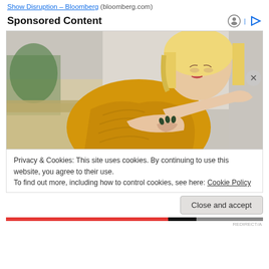Show Disruption – Bloomberg (bloomberg.com)
Sponsored Content
[Figure (photo): Woman in a yellow/mustard knit sweater looking at her forearm, seated on a light-colored couch with plants in the background]
Privacy & Cookies: This site uses cookies. By continuing to use this website, you agree to their use.
To find out more, including how to control cookies, see here: Cookie Policy
Close and accept